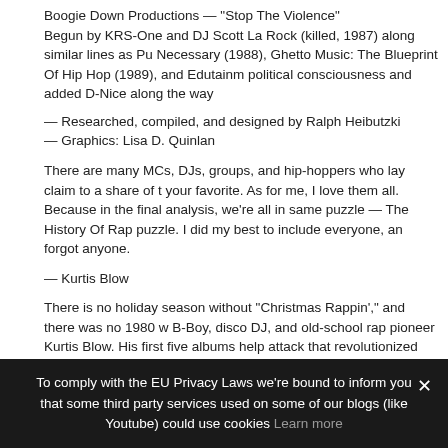Boogie Down Productions — "Stop The Violence"
Begun by KRS-One and DJ Scott La Rock (killed, 1987) along similar lines as Pu Necessary (1988), Ghetto Music: The Blueprint Of Hip Hop (1989), and Edutainm political consciousness and added D-Nice along the way
— Researched, compiled, and designed by Ralph Heibutzki
— Graphics: Lisa D. Quinlan
There are many MCs, DJs, groups, and hip-hoppers who lay claim to a share of t your favorite. As for me, I love them all. Because in the final analysis, we're all in same puzzle — The History Of Rap puzzle. I did my best to include everyone, an forgot anyone.
— Kurtis Blow
There is no holiday season without "Christmas Rappin'," and there was no 1980 w B-Boy, disco DJ, and old-school rap pioneer Kurtis Blow. His first five albums help attack that revolutionized the music industry. His creation of the sample loop cha made.
Blow's seminal hit "The Breaks" was the first certified-gold rap record. Another of World," was recently covered by star rapper Nas. Kurtis currently hosts a weekly on KPWR (Power 106-FM) in Los Angeles.
To comply with the EU Privacy Laws we're bound to inform you that some third party services used on some of our blogs (like Youtube) could use cookies Learn more